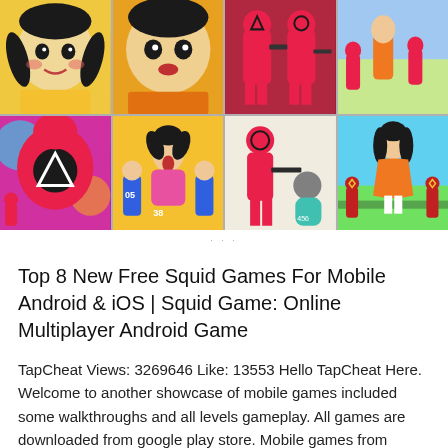[Figure (photo): A 2x4 grid of mobile game screenshots featuring Squid Game-themed characters including the large doll, masked guards in pink, players in blue tracksuits, and game scenes.]
Top 8 New Free Squid Games For Mobile Android & iOS | Squid Game: Online Multiplayer Android Game
TapCheat Views: 3269646 Like: 13553 Hello TapCheat Here. Welcome to another showcase of mobile games included some walkthroughs and all levels gameplay. All games are downloaded from google play store. Mobile games from miniatures and titles are included in this video. Enjoy and drop